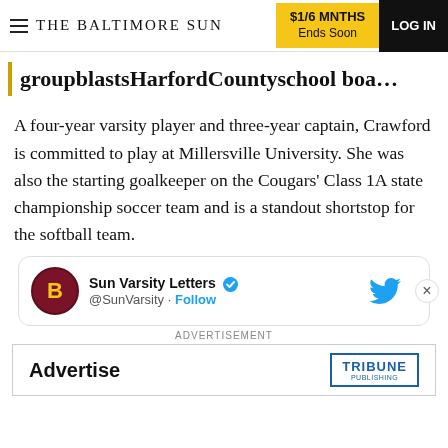THE BALTIMORE SUN | $1/6 MNTHS Ends Soon | LOG IN
groupblastsHarfordCountyschool boa…
A four-year varsity player and three-year captain, Crawford is committed to play at Millersville University. She was also the starting goalkeeper on the Cougars' Class 1A state championship soccer team and is a standout shortstop for the softball team.
[Figure (screenshot): Twitter/X card showing Sun Varsity Letters account (@SunVarsity) with Follow button and Twitter bird icon, with close (X) button]
ADVERTISEMENT
[Figure (screenshot): Advertisement banner with 'Advertise' text and Tribune Publishing logo box]